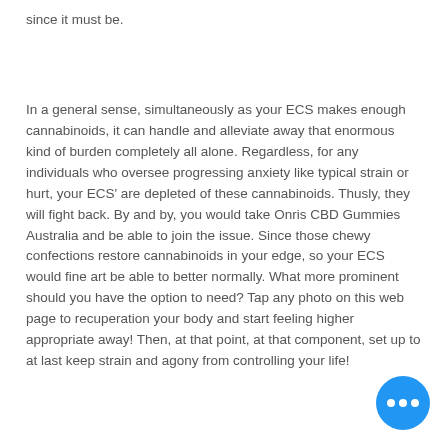since it must be.
In a general sense, simultaneously as your ECS makes enough cannabinoids, it can handle and alleviate away that enormous kind of burden completely all alone. Regardless, for any individuals who oversee progressing anxiety like typical strain or hurt, your ECS' are depleted of these cannabinoids. Thusly, they will fight back. By and by, you would take Onris CBD Gummies Australia and be able to join the issue. Since those chewy confections restore cannabinoids in your edge, so your ECS would fine art be able to better normally. What more prominent should you have the option to need? Tap any photo on this web page to recuperation your body and start feeling higher appropriate away! Then, at that point, at that component, set up to at last keep strain and agony from controlling your life!